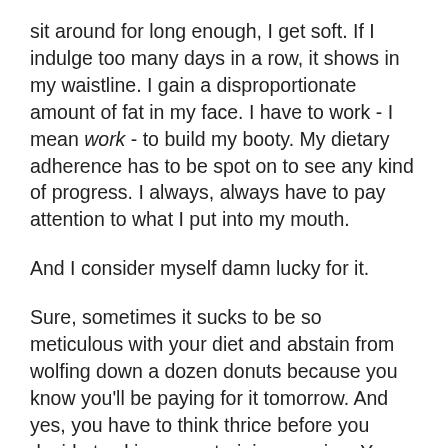sit around for long enough, I get soft. If I indulge too many days in a row, it shows in my waistline. I gain a disproportionate amount of fat in my face. I have to work - I mean work - to build my booty. My dietary adherence has to be spot on to see any kind of progress. I always, always have to pay attention to what I put into my mouth.
And I consider myself damn lucky for it.
Sure, sometimes it sucks to be so meticulous with your diet and abstain from wolfing down a dozen donuts because you know you'll be paying for it tomorrow. And yes, you have to think thrice before you decide to skimp on a training session. Your body is unforgiving in that way. You're nothing special; you're not extraordinary. You're just an average joe working your tail off to look good and stay healthy.